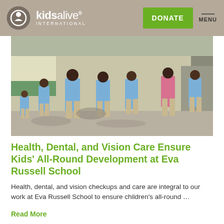Kids Alive International — DONATE | MENU
[Figure (photo): Children in blue shirts and khaki skirts standing in a school courtyard, viewed from behind, with a green-painted wall and staircase in the background.]
Health, Dental, and Vision Care Ensure Kids' All-Round Development at Eva Russell School
Health, dental, and vision checkups and care are integral to our work at Eva Russell School to ensure children's all-round …
Read More